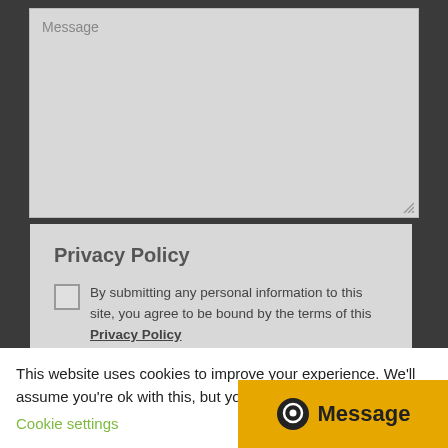[Figure (screenshot): Message textarea input field with light gray background and resize handle]
Privacy Policy
By submitting any personal information to this site, you agree to be bound by the terms of this Privacy Policy
[Figure (screenshot): CAPTCHA row showing '13 + 3 =' with blank input field, Submit button in amber/yellow, and scroll-to-top arrow button]
This website uses cookies to improve your experience. We'll assume you're ok with this, but you c
Cookie settings
[Figure (screenshot): Message chat button in amber/yellow with circular icon and 'Message' text]